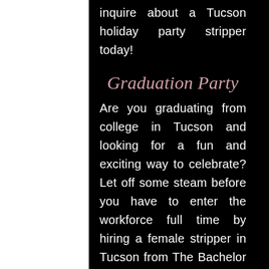inquire about a Tucson holiday party stripper today!
Graduation Party
Are you graduating from college in Tucson and looking for a fun and exciting way to celebrate? Let off some steam before you have to enter the workforce full time by hiring a female stripper in Tucson from The Bachelor Party Hookup! The best way to unwind and prevent burnout is by having fun, the most fun you will have is by hiring your very own female stripper... Celebrate... your...